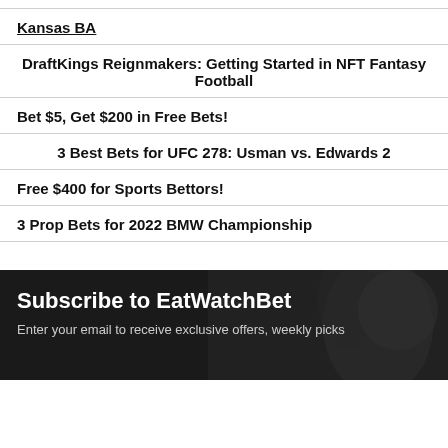Kansas BA
DraftKings Reignmakers: Getting Started in NFT Fantasy Football
Bet $5, Get $200 in Free Bets!
3 Best Bets for UFC 278: Usman vs. Edwards 2
Free $400 for Sports Bettors!
3 Prop Bets for 2022 BMW Championship
Subscribe to EatWatchBet
Enter your email to receive exclusive offers, weekly picks